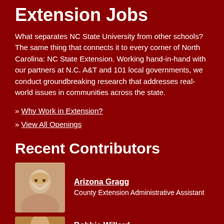Extension Jobs
What separates NC State University from other schools? The same thing that connects it to every corner of North Carolina: NC State Extension. Working hand-in-hand with our partners at N.C. A&T and 101 local governments, we conduct groundbreaking research that addresses real-world issues in communities across the state.
» Why Work in Extension?
» View All Openings
Recent Contributors
Arizona Gragg
County Extension Administrative Assistant
Bobbie Willard